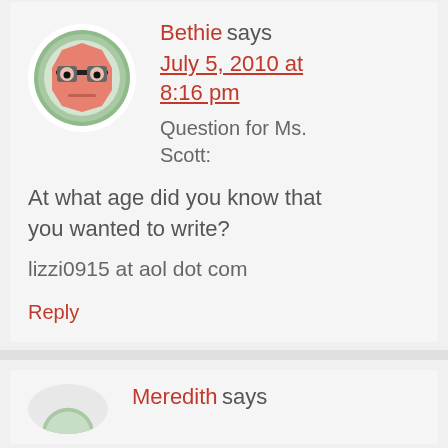[Figure (illustration): Cartoon avatar of a square-faced character with glasses on a green circular background]
Bethie says
July 5, 2010 at 8:16 pm
Question for Ms. Scott:
At what age did you know that you wanted to write?
lizzi0915 at aol dot com
Reply
[Figure (illustration): Partial cartoon avatar on green circular background, bottom of page]
Meredith says